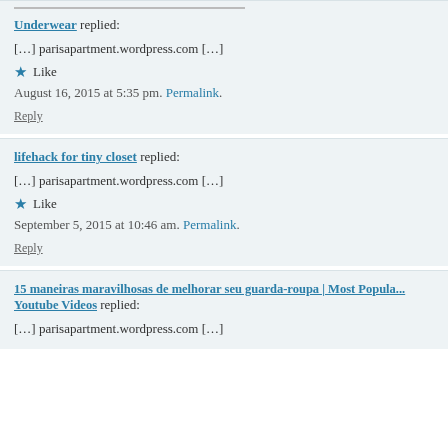Underwear replied:
[...] parisapartment.wordpress.com [...]
★ Like
August 16, 2015 at 5:35 pm. Permalink.
Reply
lifehack for tiny closet replied:
[...] parisapartment.wordpress.com [...]
★ Like
September 5, 2015 at 10:46 am. Permalink.
Reply
15 maneiras maravilhosas de melhorar seu guarda-roupa | Most Popular Youtube Videos replied:
[...] parisapartment.wordpress.com [...]